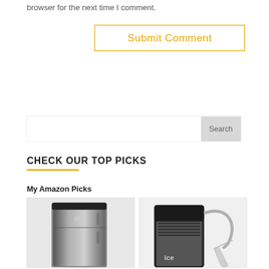browser for the next time I comment.
Submit Comment
Search
CHECK OUR TOP PICKS
My Amazon Picks
[Figure (photo): Product image of a stainless steel mini refrigerator]
[Figure (photo): Product image of a countertop ice maker machine with hose and scoop accessories]